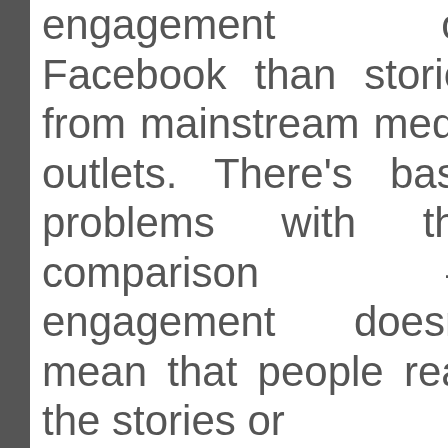engagement on Facebook than stories from mainstream media outlets. There's basic problems with this comparison — engagement doesn't mean that people read the stories or